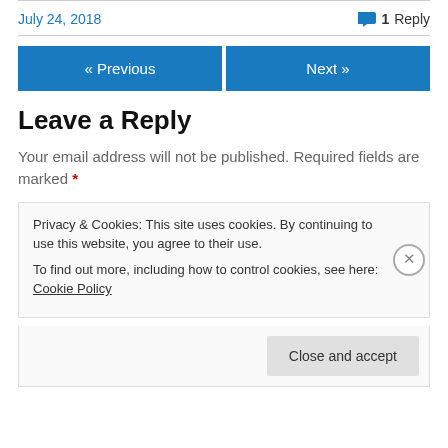July 24, 2018
1 Reply
« Previous
Next »
Leave a Reply
Your email address will not be published. Required fields are marked *
Privacy & Cookies: This site uses cookies. By continuing to use this website, you agree to their use.
To find out more, including how to control cookies, see here: Cookie Policy
Close and accept